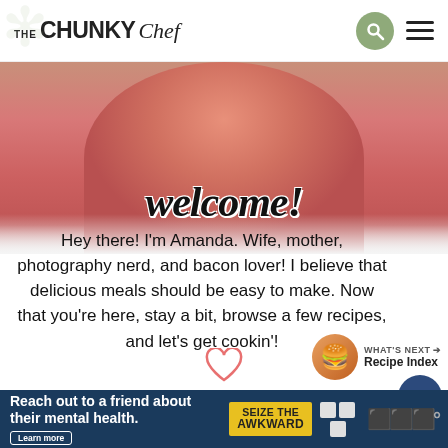THE CHUNKY Chef
[Figure (photo): Woman in pink top, upper body, blog header photo]
welcome!
Hey there! I'm Amanda. Wife, mother, photography nerd, and bacon lover! I believe that delicious meals should be easy to make. Now that you're here, stay a bit, browse a few recipes, and let's get cookin'!
WHAT'S NEXT → Recipe Index
[Figure (photo): Ad banner: Reach out to a friend about their mental health. Learn more. SEIZE THE AWKWARD.]